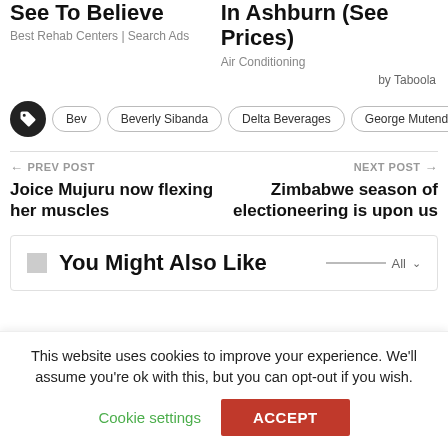See To Believe
Best Rehab Centers | Search Ads
In Ashburn (See Prices)
Air Conditioning
by Taboola
Bev
Beverly Sibanda
Delta Beverages
George Mutendadzamera
← PREV POST
Joice Mujuru now flexing her muscles
NEXT POST →
Zimbabwe season of electioneering is upon us
You Might Also Like
This website uses cookies to improve your experience. We'll assume you're ok with this, but you can opt-out if you wish.
Cookie settings
ACCEPT